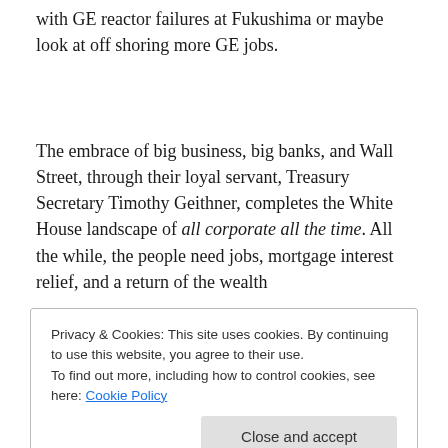with GE reactor failures at Fukushima or maybe look at off shoring more GE jobs.
The embrace of big business, big banks, and Wall Street, through their loyal servant, Treasury Secretary Timothy Geithner, completes the White House landscape of all corporate all the time. All the while, the people need jobs, mortgage interest relief, and a return of the wealth
Privacy & Cookies: This site uses cookies. By continuing to use this website, you agree to their use.
To find out more, including how to control cookies, see here: Cookie Policy
Close and accept
separated by just a few degrees, that show consistent